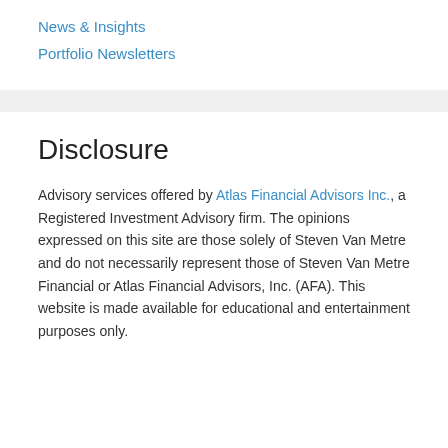News & Insights
Portfolio Newsletters
Disclosure
Advisory services offered by Atlas Financial Advisors Inc., a Registered Investment Advisory firm. The opinions expressed on this site are those solely of Steven Van Metre and do not necessarily represent those of Steven Van Metre Financial or Atlas Financial Advisors, Inc. (AFA). This website is made available for educational and entertainment purposes only.